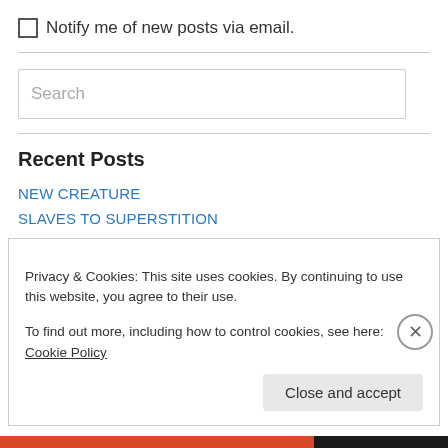Notify me of new posts via email.
Search
Recent Posts
NEW CREATURE
SLAVES TO SUPERSTITION
CULTIVATED CHRISTIANITY
Privacy & Cookies: This site uses cookies. By continuing to use this website, you agree to their use.
To find out more, including how to control cookies, see here: Cookie Policy
Close and accept